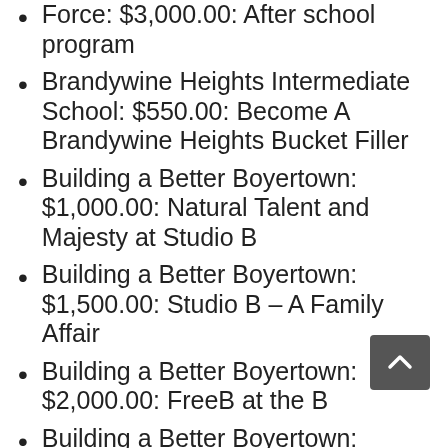Force: $3,000.00: After school program
Brandywine Heights Intermediate School: $550.00: Become A Brandywine Heights Bucket Filler
Building a Better Boyertown: $1,000.00: Natural Talent and Majesty at Studio B
Building a Better Boyertown: $1,500.00: Studio B – A Family Affair
Building a Better Boyertown: $2,000.00: FreeB at the B
Building a Better Boyertown: $2,000.00: Free to Be Me 2.0 at Studio B
Building a Better Boyertown: $2,200.00: Happy to Be Me 3.0 at Studio B
Camp Fire USA – Adahi Council: